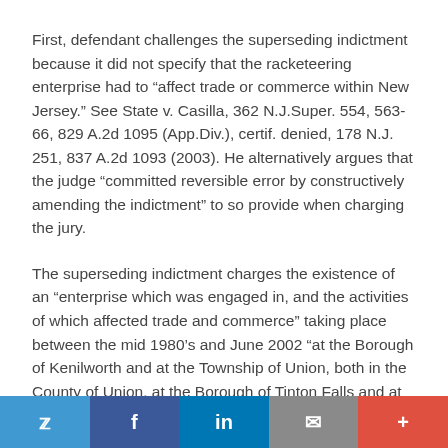First, defendant challenges the superseding indictment because it did not specify that the racketeering enterprise had to “affect trade or commerce within New Jersey.” See State v. Casilla, 362 N.J.Super. 554, 563-66, 829 A.2d 1095 (App.Div.), certif. denied, 178 N.J. 251, 837 A.2d 1093 (2003). He alternatively argues that the judge “committed reversible error by constructively amending the indictment” to so provide when charging the jury.
The superseding indictment charges the existence of an “enterprise which was engaged in, and the activities of which affected trade and commerce” taking place between the mid 1980’s and June 2002 “at the Borough of Kenilworth and at the Township of Union, both in the County of Union, at the Borough of Tinton Falls and at the Borough of Freehold, both in the County of Monmouth, elsewhere, and within the
Twitter | Facebook | LinkedIn | Email | +